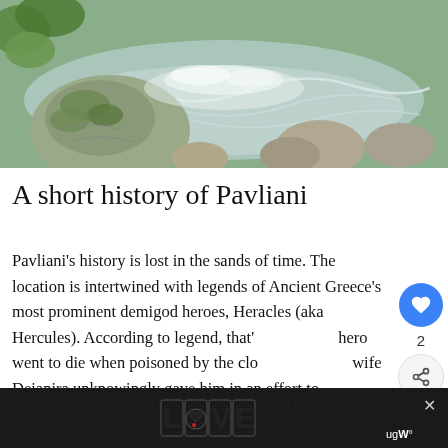[Figure (photo): Close-up photo of a rocky mountain stream with moss-covered rocks and flowing water]
A short history of Pavliani
Pavliani's history is lost in the sands of time. The location is intertwined with legends of Ancient Greece's most prominent demigod heroes, Heracles (aka Hercules). According to legend, that's where the hero went to die when poisoned by the clothes his wife Deianira unknowingly gave him in an effort to
[Figure (screenshot): WHAT'S NEXT panel showing Villa Hurmuses thumbnail and link]
[Figure (logo): LOVE decorative logo advertisement in dark bar at bottom]